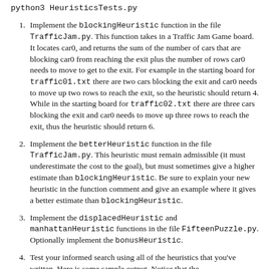python3 HeuristicsTests.py
1. Implement the blockingHeuristic function in the file TrafficJam.py. This function takes in a Traffic Jam Game board. It locates car0, and returns the sum of the number of cars that are blocking car0 from reaching the exit plus the number of rows car0 needs to move to get to the exit. For example in the starting board for traffic01.txt there are two cars blocking the exit and car0 needs to move up two rows to reach the exit, so the heuristic should return 4. While in the starting board for traffic02.txt there are three cars blocking the exit and car0 needs to move up three rows to reach the exit, thus the heuristic should return 6.
2. Implement the betterHeuristic function in the file TrafficJam.py. This heuristic must remain admissible (it must underestimate the cost to the goal), but must sometimes give a higher estimate than blockingHeuristic. Be sure to explain your new heuristic in the function comment and give an example where it gives a better estimate than blockingHeuristic.
3. Implement the displacedHeuristic and manhattanHeuristic functions in the file FifteenPuzzle.py. Optionally implement the bonusHeuristic.
4. Test your informed search using all of the heuristics that you've written. Here is some sample output. Notice that the